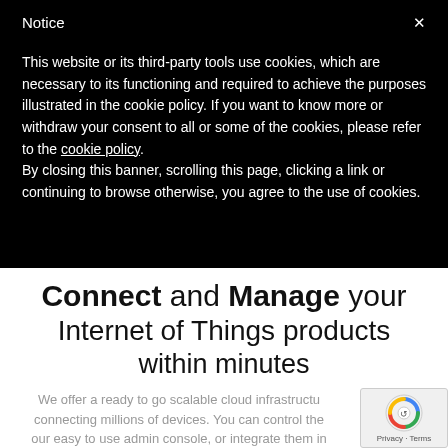Notice
This website or its third-party tools use cookies, which are necessary to its functioning and required to achieve the purposes illustrated in the cookie policy. If you want to know more or withdraw your consent to all or some of the cookies, please refer to the cookie policy.
By closing this banner, scrolling this page, clicking a link or continuing to browse otherwise, you agree to the use of cookies.
Connect and Manage your Internet of Things products within minutes
We offer a ready to go scalable cloud infrastructure connecting millions of devices. You can control the our easy to use admin console, or integrate them in your